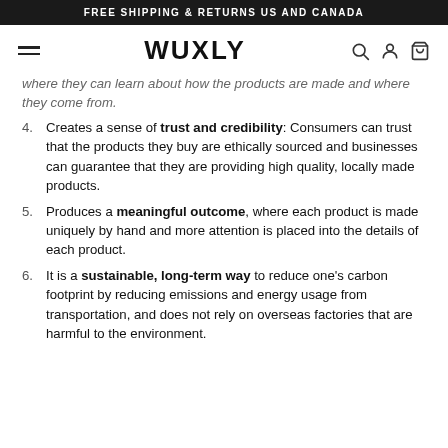FREE SHIPPING & RETURNS US AND CANADA
[Figure (logo): WUXLY logo with hamburger menu on left and search, account, cart icons on right]
where they can learn about how the products are made and where they come from.
4. Creates a sense of trust and credibility: Consumers can trust that the products they buy are ethically sourced and businesses can guarantee that they are providing high quality, locally made products.
5. Produces a meaningful outcome, where each product is made uniquely by hand and more attention is placed into the details of each product.
6. It is a sustainable, long-term way to reduce one's carbon footprint by reducing emissions and energy usage from transportation, and does not rely on overseas factories that are harmful to the environment.
(continued text cut off at bottom)